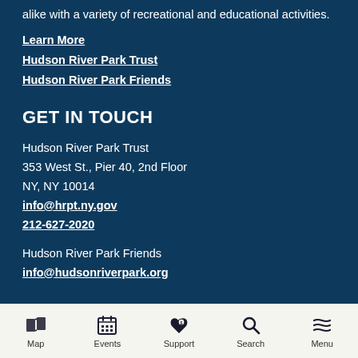alike with a variety of recreational and educational activities.
Learn More
Hudson River Park Trust
Hudson River Park Friends
GET IN TOUCH
Hudson River Park Trust
353 West St., Pier 40, 2nd Floor
NY, NY 10014
info@hrpt.ny.gov
212-627-2020
Hudson River Park Friends
info@hudsonriverpark.org
Map  Events  Support  Search  Menu